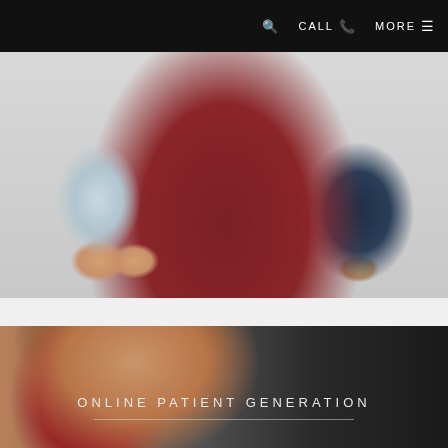🔍  CALL 📞  MORE ☰
[Figure (photo): Two people seated side by side — one in a light checkered shirt with clasped hands, center figure in maroon, right figure in a dark navy suit — cropped at torso/hands level, against a neutral background]
[Figure (photo): Close-up portrait of an Asian woman with brown hair, red lipstick, wearing a sleeveless maroon top, looking downward, against a dark background with a plant visible at the right edge. Text overlay reads 'ONLINE PATIENT GENERATION' with a horizontal line below.]
ONLINE PATIENT GENERATION